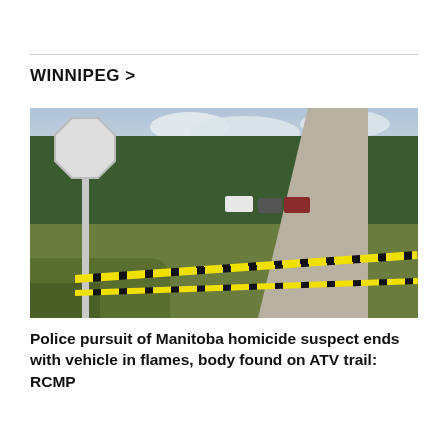WINNIPEG >
[Figure (photo): A rural dirt road with police tape (yellow caution tape) strung across a post near a stop sign. Several vehicles including a white van and dark-colored cars are parked in the distance. Trees line the background under a partly cloudy sky.]
Police pursuit of Manitoba homicide suspect ends with vehicle in flames, body found on ATV trail: RCMP